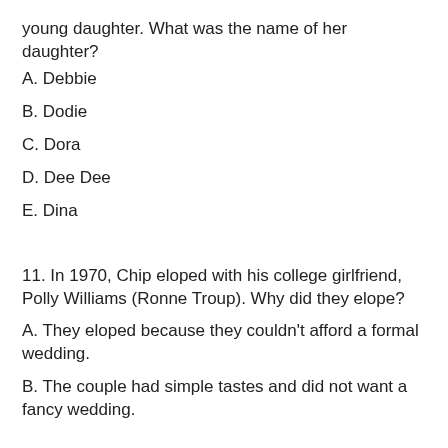young daughter.  What was the name of her daughter?
A.  Debbie
B.  Dodie
C.  Dora
D.  Dee Dee
E.  Dina
11.  In 1970, Chip eloped with his college girlfriend, Polly Williams (Ronne Troup).  Why did they elope?
A.  They eloped because they couldn't afford a formal wedding.
B.  The couple had simple tastes and did not want a fancy wedding.